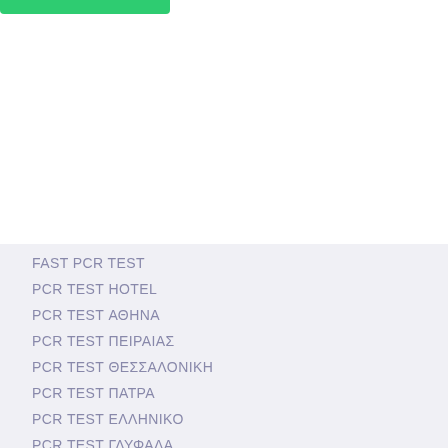FaLang translation system by Faboba
FAST PCR TEST
PCR TEST HOTEL
PCR TEST ΑΘΗΝΑ
PCR TEST ΠΕΙΡΑΙΑΣ
PCR TEST ΘΕΣΣΑΛΟΝΙΚΗ
PCR TEST ΠΑΤΡΑ
PCR TEST ΕΛΛΗΝΙΚΟ
PCR TEST ΓΛΥΦΑΔΑ
PCR TEST ΣΑΝΤΟΡΙΝΗ
PCR TEST ΠΑΡΟΣ
PCR TEST ΖΑΚΥΝΘΟΣ
PCR TEST ΜΥΚΟΝΟΣ